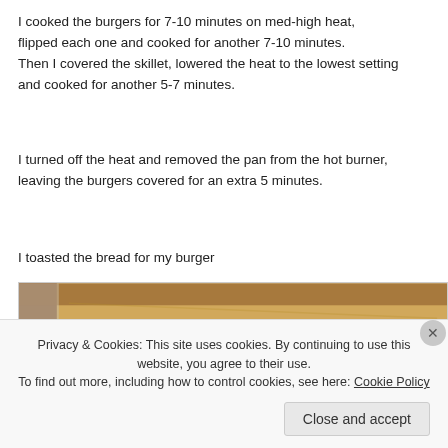I cooked the burgers for 7-10 minutes on med-high heat, flipped each one and cooked for another 7-10 minutes. Then I covered the skillet, lowered the heat to the lowest setting and cooked for another 5-7 minutes.
I turned off the heat and removed the pan from the hot burner, leaving the burgers covered for an extra 5 minutes.
I toasted the bread for my burger
[Figure (photo): Close-up photo of a toasted burger bun showing golden-brown toasted surface with dark spots]
Privacy & Cookies: This site uses cookies. By continuing to use this website, you agree to their use.
To find out more, including how to control cookies, see here: Cookie Policy
Close and accept